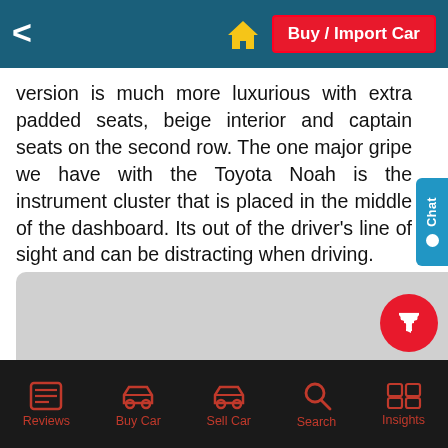Buy / Import Car
version is much more luxurious with extra padded seats, beige interior and captain seats on the second row. The one major gripe we have with the Toyota Noah is the instrument cluster that is placed in the middle of the dashboard. Its out of the driver's line of sight and can be distracting when driving.
[Figure (photo): Gray image placeholder area for a vehicle photo]
Reviews | Buy Car | Sell Car | Search | Insights